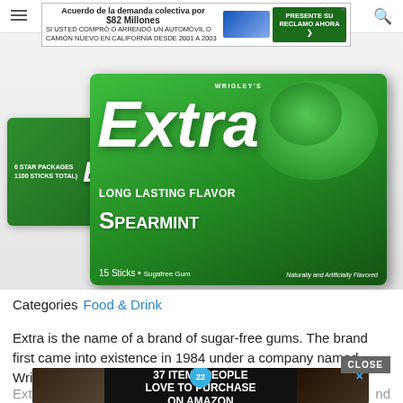Navigation bar with hamburger menu and search icon
[Figure (screenshot): Advertisement banner: 'Acuerdo de la demanda colectiva por $82 Millones. SI USTED COMPRÓ O ARRENDÓ UN AUTOMÓVIL O CAMIÓN NUEVO EN CALIFORNIA DESDE 2001 A 2003' with car image and green 'PRESENTE SU RECLAMO AHORA' button]
[Figure (photo): Wrigley's Extra Spearmint sugar-free gum packaging. Shows two boxes: a back box and a front box. Front box reads: WRIGLEY'S Extra, LONG LASTING FLAVOR, SPEARMINT, 15 Sticks • Sugafree Gum, Naturally and Artificially Flavored]
Categories  Food & Drink
Extra is the name of a brand of sugar-free gums. The brand first came into existence in 1984 under a company named Wrigle
Extra s pepper nd
[Figure (screenshot): Bottom advertisement overlay: '22' badge, '37 ITEMS PEOPLE LOVE TO PURCHASE ON AMAZON' with food/kitchen imagery. Has X close button.]
CLOSE